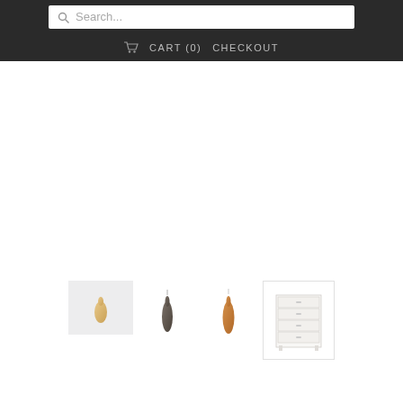Search...  CART (0)  CHECKOUT
[Figure (photo): Four product thumbnail images in a row at bottom of page: first shows a light golden teardrop pendant on gray background, second shows a dark/gunmetal teardrop pendant on white background, third shows a golden/amber teardrop pendant on white background, fourth shows a white dresser/chest of drawers on white background.]